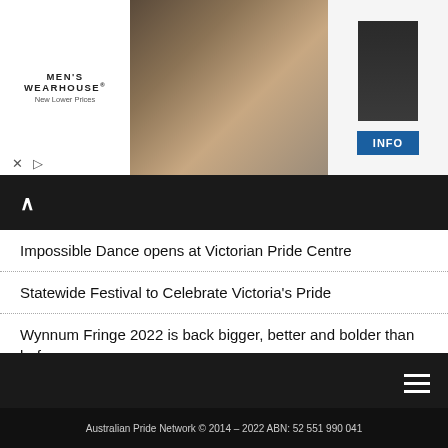[Figure (screenshot): Men's Wearhouse advertisement banner with logo, couple in formalwear photo, suit image, and INFO button]
Impossible Dance opens at Victorian Pride Centre
Statewide Festival to Celebrate Victoria's Pride
Wynnum Fringe 2022 is back bigger, better and bolder than before
Lights, Camera, Action – 70th Melbourne International Film Festival opens today
To Barbra, With Love – an 80th Birthday Celebration in Canberra, Adelaide and Sydney
Street Party in the Inner North a symbol of Pride
Australian Pride Network © 2014 – 2022 ABN: 52 551 990 041